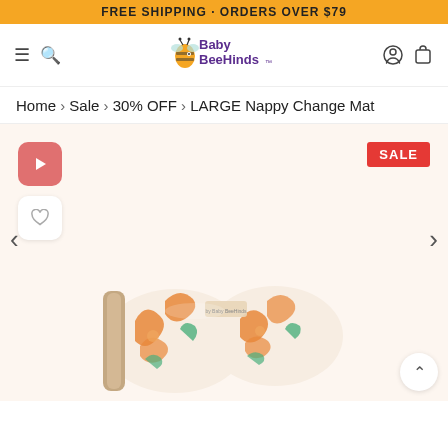FREE SHIPPING · ORDERS OVER $79
[Figure (logo): Baby BeeHinds logo with a cartoon bee, purple text]
Home › Sale › 30% OFF › LARGE Nappy Change Mat
[Figure (photo): Product photo of LARGE Nappy Change Mat with orange floral/swirl pattern on cream fabric, folded/rolled. SALE badge in top right. Play button and wishlist heart button on left. Left/right navigation arrows. Scroll-up button bottom right.]